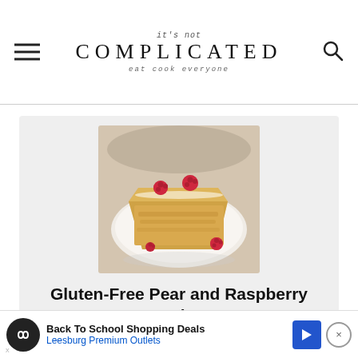it's not COMPLICATED · eat cook everyone
[Figure (photo): A slice of gluten-free pear and raspberry cake on a white plate, garnished with fresh raspberries and powdered sugar]
Gluten-Free Pear and Raspberry Cake
Simple to make and delicious to eat, this lovely Gluten-Free Pear and Raspberry Cake is moist and full of flavour. Enjoy it with a po... a
Back To School Shopping Deals · Leesburg Premium Outlets